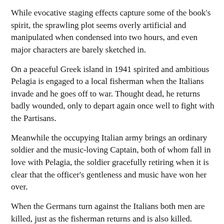While evocative staging effects capture some of the book's spirit, the sprawling plot seems overly artificial and manipulated when condensed into two hours, and even major characters are barely sketched in.
On a peaceful Greek island in 1941 spirited and ambitious Pelagia is engaged to a local fisherman when the Italians invade and he goes off to war. Thought dead, he returns badly wounded, only to depart again once well to fight with the Partisans.
Meanwhile the occupying Italian army brings an ordinary soldier and the music-loving Captain, both of whom fall in love with Pelagia, the soldier gracefully retiring when it is clear that the officer's gentleness and music have won her over.
When the Germans turn against the Italians both men are killed, just as the fisherman returns and is also killed.
Three or four decades later one of the trio proves to be still alive and returns yet again to pick up where he left off.
In between, the novel offers ruminations on history, tradition, love and honour that can only be presented as awkwardly shoehorned-in passing comments in the play.